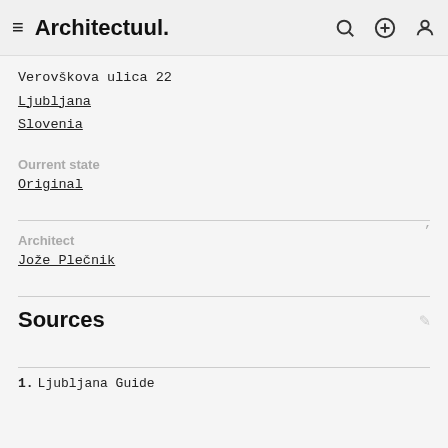Architectuul.
Verovškova ulica 22
Ljubljana
Slovenia
Ourrent state
Original
Architect
Jože Plečnik
Sources
Ljubljana Guide